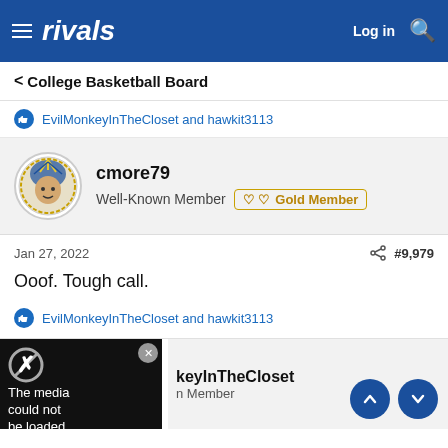rivals  Log in
< College Basketball Board
EvilMonkeyInTheCloset and hawkit3113
cmore79
Well-Known Member  Gold Member
Jan 27, 2022  #9,979
Ooof. Tough call.
EvilMonkeyInTheCloset and hawkit3113
[Figure (screenshot): Media could not be loaded error overlay with X symbol]
keyInTheCloset
n Member